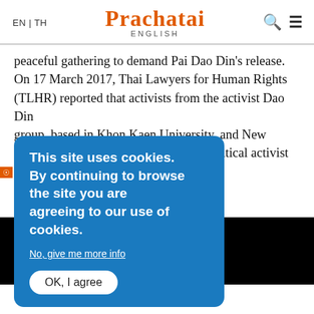EN | TH  PRACHATAI ENGLISH
peaceful gathering to demand Pai Dao Din’s release. On 17 March 2017, Thai Lawyers for Human Rights (TLHR) reported that activists from the activist Dao Din group, based in Khon Kaen University, and New Generation Citizens (NGC), another political activist g[obscured] court notice.
This site uses cookies. By continuing to browse the site you are agreeing to our use of cookies.
No, give me more info
OK, I agree
FORUM-ASIA